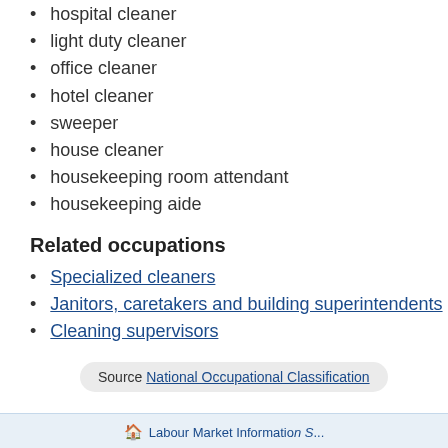hospital cleaner
light duty cleaner
office cleaner
hotel cleaner
sweeper
house cleaner
housekeeping room attendant
housekeeping aide
Related occupations
Specialized cleaners
Janitors, caretakers and building superintendents
Cleaning supervisors
Source National Occupational Classification
Labour Market Information Survey